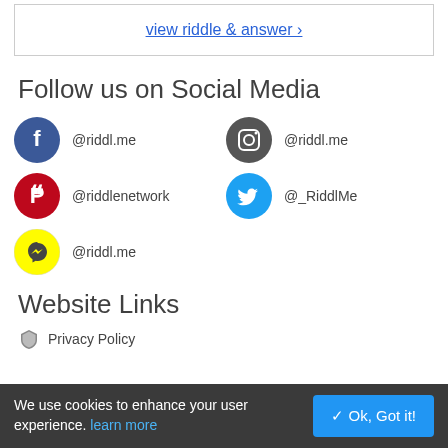view riddle & answer >
Follow us on Social Media
@riddl.me (Facebook)
@riddl.me (Instagram)
@riddlenetwork (Pinterest)
@_RiddlMe (Twitter)
@riddl.me (Snapchat)
Website Links
Privacy Policy
We use cookies to enhance your user experience. learn more  Ok, Got it!